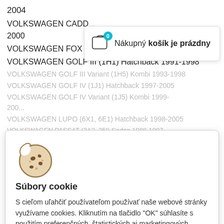2004
VOLKSWAGEN CADD... 2000
VOLKSWAGEN FOX (5Z1, 5Z3) Hatchback 2003-…
VOLKSWAGEN GOLF III (1H1) Hatchback 1991-1998
VOLKSWAGEN GOLF III Variant (1H5) Kombi 1993-1998
VOLKSWAGEN GOLF IV (1J1) Hatchback 1997-2005
VOLKSWAGEN GOLF IV Variant (1J5) Kombi 1999-200...
VOLKSWAGEN LUPO (6X1, 6E1) Hatchback 1998-2005
VOLKSWAGEN PASSAT (3A2, 35I) Sedan 1988-1997
VOLKSWAGEN PASSAT Variant (3B0) Kombi 2002-2005
2005
[Figure (infographic): Shopping cart icon with teal badge showing 0, next to text 'Nákupný košík je prázdny' in a white tooltip popup]
[Figure (illustration): Cookie icon - cartoon illustration of a cookie with bite marks and chocolate chips]
Súbory cookie
S cieľom uľahčiť používateľom používať naše webové stránky využívame cookies. Kliknutím na tlačidlo "OK" súhlasíte s použitím preferenčných, štatistických aj marketingových cookies pre nás aj našich partnerov. Funkčné cookies sú v rámci zachovania funkčnosti webu používané počas celej doby prehliadania webom. Podrobné informácie a nastavenia ku cookies nájdete tu.